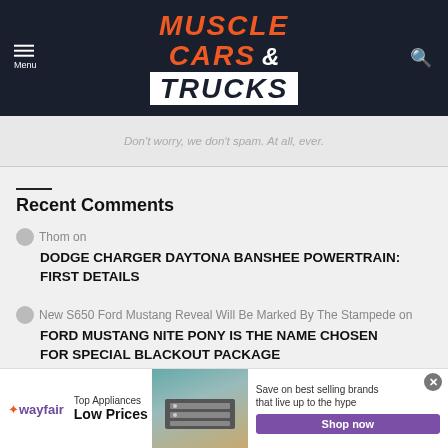[Figure (logo): Muscle Cars & Trucks website logo on dark navy header with orange and white text]
Don't worry, we don't spam. At all, ever.
Recent Comments
Thom on
DODGE CHARGER DAYTONA BANSHEE POWERTRAIN: FIRST DETAILS
New S650 Ford Mustang Reveal Will Be Marked By The Stampede on
FORD MUSTANG NITE PONY IS THE NAME CHOSEN FOR SPECIAL BLACKOUT PACKAGE
[Figure (screenshot): Wayfair advertisement banner: Top Appliances Low Prices, Save on best selling brands that live up to the hype, Shop now button]